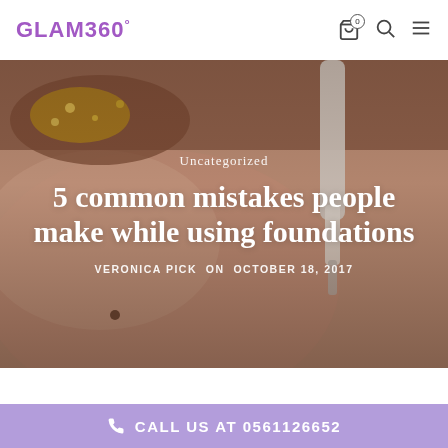GLAM360°
[Figure (photo): Close-up photo of a person's face with makeup being applied using a brush, showing skin texture and glittery eye makeup]
Uncategorized
5 common mistakes people make while using foundations
VERONICA PICK ON OCTOBER 18, 2017
CALL US AT 0561126652